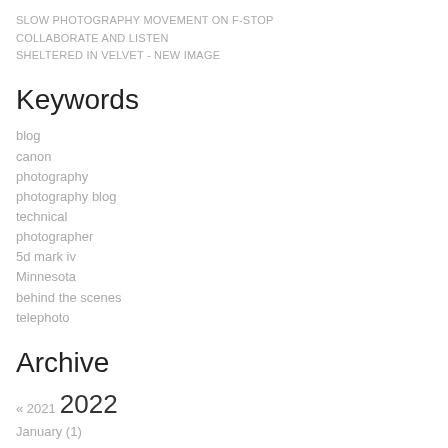SLOW PHOTOGRAPHY MOVEMENT ON F-STOP COLLABORATE AND LISTEN
SHELTERED IN VELVET - NEW IMAGE
Keywords
blog
canon
photography
photography blog
technical
photographer
5d mark iv
Minnesota
behind the scenes
telephoto
Archive
« 2021  2022
January (1)